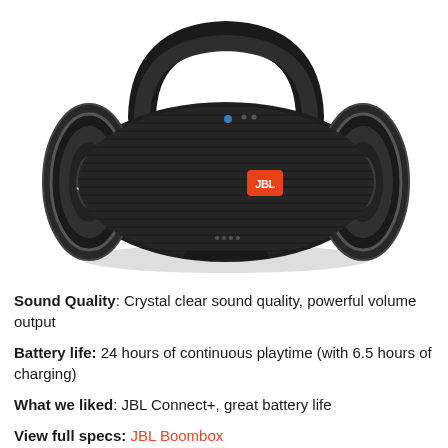[Figure (photo): JBL Boombox portable Bluetooth speaker in black, shown at an angle with handle on top, JBL logo on woofer and orange JBL badge on front grille]
Sound Quality: Crystal clear sound quality, powerful volume output
Battery life: 24 hours of continuous playtime (with 6.5 hours of charging)
What we liked: JBL Connect+, great battery life
View full specs: JBL Boombox